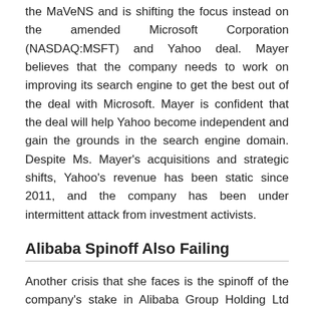the MaVeNS and is shifting the focus instead on the amended Microsoft Corporation (NASDAQ:MSFT) and Yahoo deal. Mayer believes that the company needs to work on improving its search engine to get the best out of the deal with Microsoft. Mayer is confident that the deal will help Yahoo become independent and gain the grounds in the search engine domain. Despite Ms. Mayer's acquisitions and strategic shifts, Yahoo's revenue has been static since 2011, and the company has been under intermittent attack from investment activists.
Alibaba Spinoff Also Failing
Another crisis that she faces is the spinoff of the company's stake in Alibaba Group Holding Ltd (NYSE:BABA). The shares were at around $103 at the September initial public offering, but now it currently stands at $80.